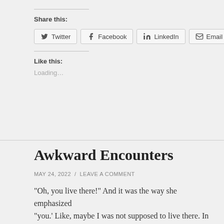Share this:
Twitter  Facebook  LinkedIn  Email
Like this:
Loading…
Awkward Encounters
MAY 24, 2022  /  LEAVE A COMMENT
"Oh, you live there!" And it was the way she emphasized "you.' Like, maybe I was not supposed to live there. In my